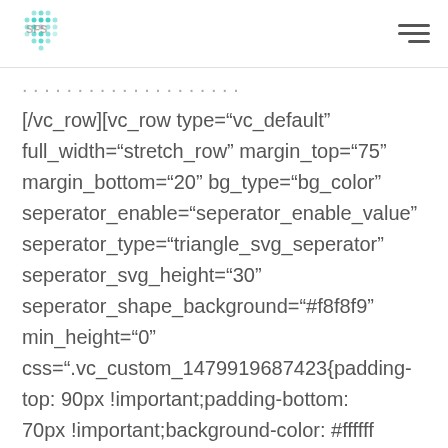SFS logo and hamburger menu
[/vc_row][vc_row type="vc_default" full_width="stretch_row" margin_top="75" margin_bottom="20" bg_type="bg_color" seperator_enable="seperator_enable_value" seperator_type="triangle_svg_seperator" seperator_svg_height="30" seperator_shape_background="#f8f8f9" min_height="0" css=".vc_custom_1479919687423{padding-top: 90px !important;padding-bottom: 70px !important;background-color: #ffffff !important;}" bg_color_value="#ffffff"] [vc_column width="1/2" offset="vc_col-lg-6 vc_col-md-6 vc_col-xs-12"